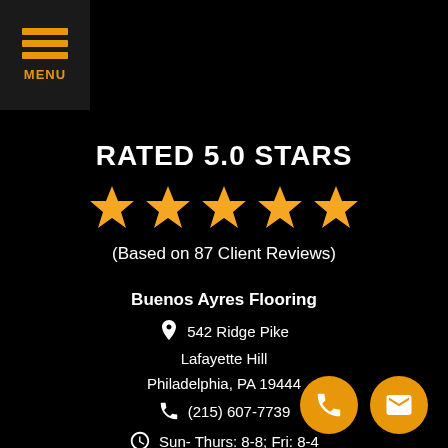[Figure (logo): Orange hamburger menu icon with three horizontal lines and MENU text below]
RATED 5.0 STARS
[Figure (illustration): Five gold/yellow star rating icons]
(Based on 87 Client Reviews)
Buenos Ayres Flooring
542 Ridge Pike
Lafayette Hill
Philadelphia, PA 19444
(215) 607-7739
Sun- Thurs: 8-8; Fri: 8-4
BA Flooring
1628 John F Kennedy Blvd